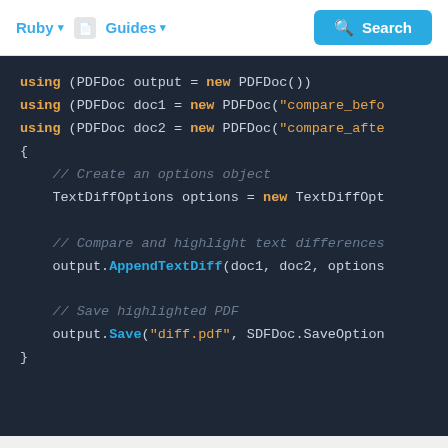Ruby  Guides  Search
[Figure (screenshot): Code editor screenshot showing C# code using PDFDoc and TextDiffOptions to compare and highlight text differences between two PDF documents, then save the result.]